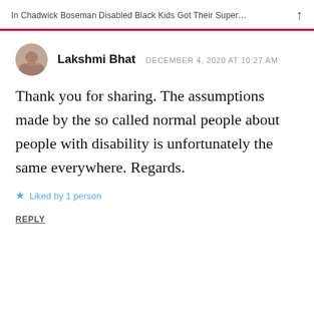In Chadwick Boseman Disabled Black Kids Got Their Super…
[Figure (photo): Circular avatar photo of Lakshmi Bhat, showing a group of people]
Lakshmi Bhat  DECEMBER 4, 2020 AT 10:27 AM
Thank you for sharing. The assumptions made by the so called normal people about people with disability is unfortunately the same everywhere. Regards.
★ Liked by 1 person
REPLY